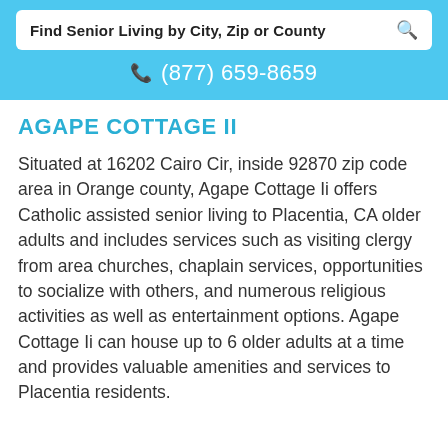Find Senior Living by City, Zip or County
(877) 659-8659
AGAPE COTTAGE II
Situated at 16202 Cairo Cir, inside 92870 zip code area in Orange county, Agape Cottage Ii offers Catholic assisted senior living to Placentia, CA older adults and includes services such as visiting clergy from area churches, chaplain services, opportunities to socialize with others, and numerous religious activities as well as entertainment options. Agape Cottage Ii can house up to 6 older adults at a time and provides valuable amenities and services to Placentia residents.